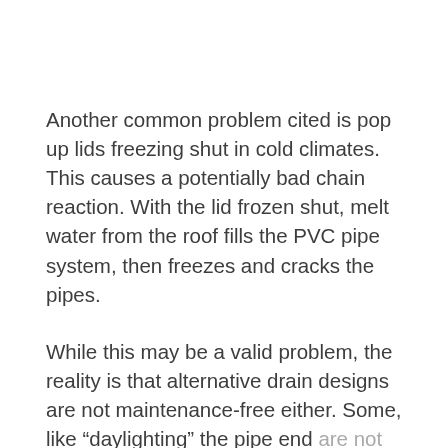Another common problem cited is pop up lids freezing shut in cold climates. This causes a potentially bad chain reaction. With the lid frozen shut, melt water from the roof fills the PVC pipe system, then freezes and cracks the pipes.
While this may be a valid problem, the reality is that alternative drain designs are not maintenance-free either. Some, like “daylighting” the pipe end are not allowed in many suburban neighborhoods. One landscape expert said that, yes, freezing was...